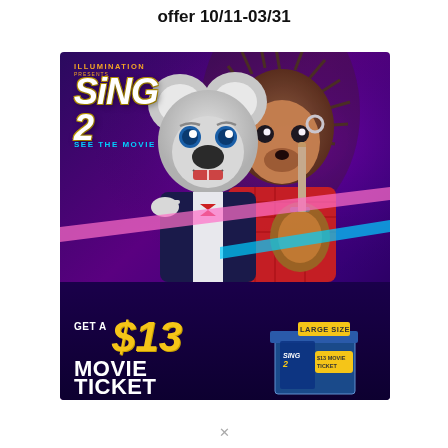offer 10/11-03/31
[Figure (illustration): Sing 2 movie promotional advertisement featuring animated characters — a koala and a porcupine playing guitar — against a purple background. Text includes 'Illumination presents SING 2 SEE THE MOVIE' and 'GET A $13 MOVIE TICKET' with a large-size product box shown at the bottom right of the ad.]